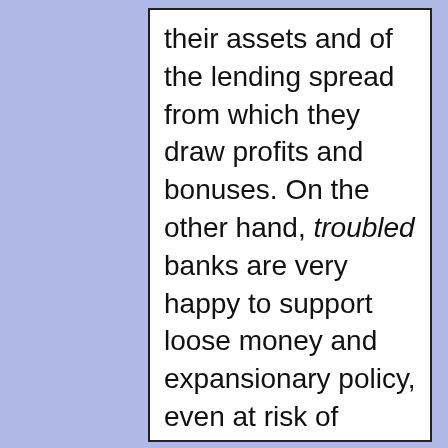their assets and of the lending spread from which they draw profits and bonuses. On the other hand, troubled banks are very happy to support loose money and expansionary policy, even at risk of inflation. For bank managers and shareholders, it is bad to have the value of past loans eroded by inflation. But it is much worse to lose their franchises entirely, to have their